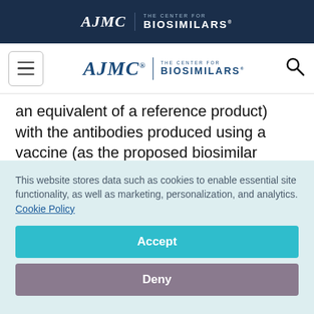AJMC | THE CENTER FOR BIOSIMILARS
AJMC | THE CENTER FOR BIOSIMILARS (navigation bar)
an equivalent of a reference product) with the antibodies produced using a vaccine (as the proposed biosimilar product). This test can be conducted within a few days of administering the first dose of the vaccine. This testing can also be
This website stores data such as cookies to enable essential site functionality, as well as marketing, personalization, and analytics. Cookie Policy
Accept
Deny